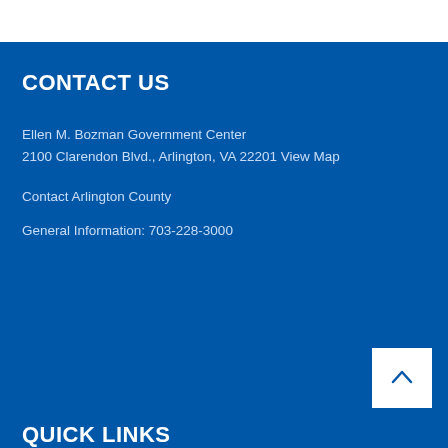CONTACT US
Ellen M. Bozman Government Center
2100 Clarendon Blvd., Arlington, VA 22201 View Map
Contact Arlington County
General Information: 703-228-3000
QUICK LINKS